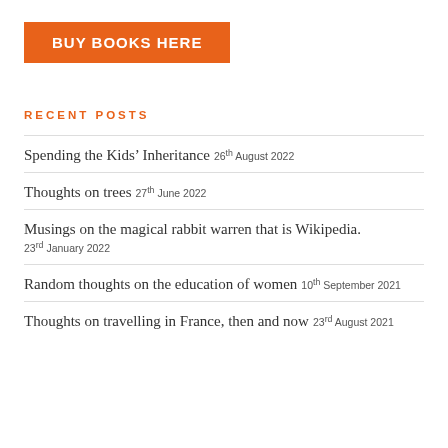[Figure (other): Orange button with white bold text 'BUY BOOKS HERE']
RECENT POSTS
Spending the Kids' Inheritance 26th August 2022
Thoughts on trees 27th June 2022
Musings on the magical rabbit warren that is Wikipedia. 23rd January 2022
Random thoughts on the education of women 10th September 2021
Thoughts on travelling in France, then and now 23rd August 2021